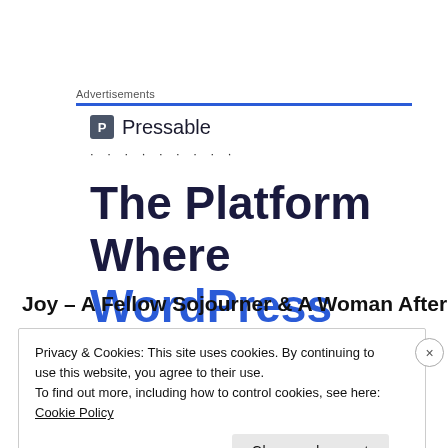Advertisements
[Figure (logo): Pressable logo with blue square icon containing letter P and text 'Pressable', followed by a row of dots]
The Platform Where WordPress
Joy – A Fellow Sojourner & A Woman After
Privacy & Cookies: This site uses cookies. By continuing to use this website, you agree to their use.
To find out more, including how to control cookies, see here: Cookie Policy
Close and accept